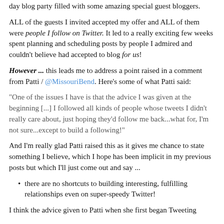day blog party filled with some amazing special guest bloggers.
ALL of the guests I invited accepted my offer and ALL of them were people I follow on Twitter. It led to a really exciting few weeks spent planning and scheduling posts by people I admired and couldn't believe had accepted to blog for us!
However ... this leads me to address a point raised in a comment from Patti / @MissouriBend. Here's some of what Patti said:
"One of the issues I have is that the advice I was given at the beginning [...] I followed all kinds of people whose tweets I didn't really care about, just hoping they'd follow me back...what for, I'm not sure...except to build a following!"
And I'm really glad Patti raised this as it gives me chance to state something I believe, which I hope has been implicit in my previous posts but which I'll just come out and say ...
there are no shortcuts to building interesting, fulfilling relationships even on super-speedy Twitter!
I think the advice given to Patti when she first began Tweeting